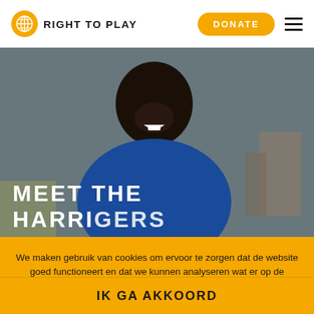RIGHT TO PLAY | DONATE
[Figure (photo): A smiling young man in a blue polo shirt with arms crossed, photographed outdoors against a grey sky and buildings in background. Partially visible text at bottom reads 'MEET THE HARRIGERS' or similar.]
We maken gebruik van cookies om ervoor te zorgen dat de website goed functioneert en dat we kunnen analyseren wat er op de website gebeurt. Hiervoor wordt geen persoonlijke data opgeslagen. Lees meer in onze Data Protection and Privacy Policy.
IK GA AKKOORD